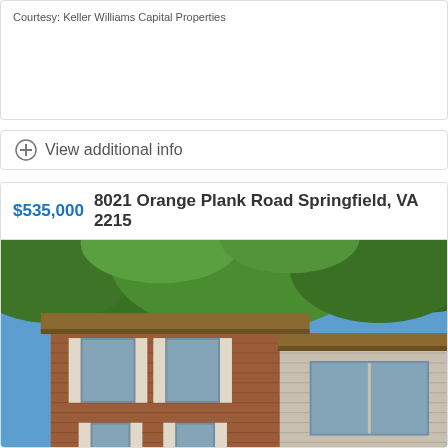Courtesy: Keller Williams Capital Properties
View additional info
$535,000   8021 Orange Plank Road Springfield, VA 2215...
[Figure (photo): Exterior photo of a two-story brick and vinyl siding house with large trees overhead and multiple windows visible]